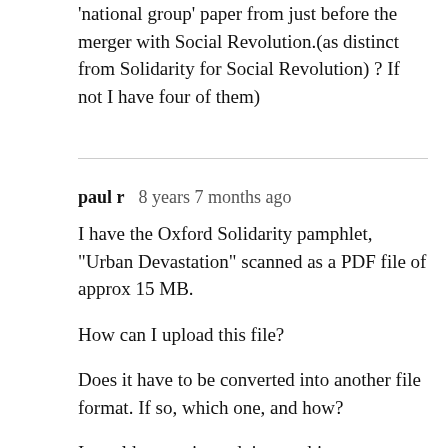'national group' paper from just before the merger with Social Revolution.(as distinct from Solidarity for Social Revolution) ? If not I have four of them)
paul r   8 years 7 months ago
I have the Oxford Solidarity pamphlet, "Urban Devastation" scanned as a PDF file of approx 15 MB.

How can I upload this file?

Does it have to be converted into another file format. If so, which one, and how?

I would appreciate advice on this.